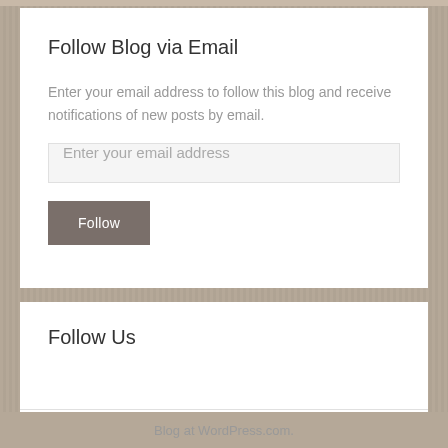Follow Blog via Email
Enter your email address to follow this blog and receive notifications of new posts by email.
Enter your email address
Follow
Follow Us
Blog at WordPress.com.